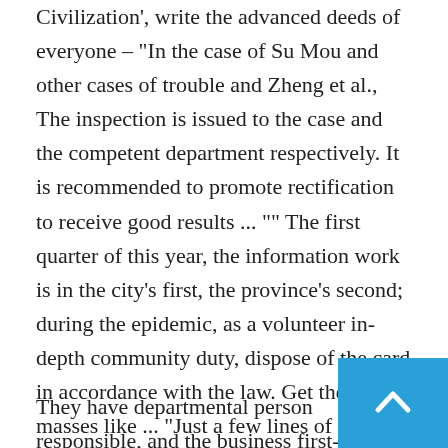Civilization', write the advanced deeds of everyone – "In the case of Su Mou and other cases of trouble and Zheng et al., The inspection is issued to the case and the competent department respectively. It is recommended to promote rectification to receive good results ... "" The first quarter of this year, the information work is in the city's first, the province's second; during the epidemic, as a volunteer in-depth community duty, dispose of the card in accordance with the law. Get the masses like ... "Just a few lines of text, or several informative data, mapped out their efforts to fight on their job. "The Star of Intances Civilization" began to selection from 2019, and there 共开展了 were 24 people in each period.
They have departmental person responsible, and the business first-line case prosecutor, and there are some business administration administrator. "The d...